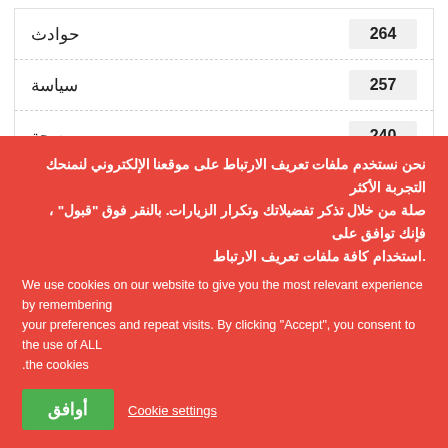| العدد | الفئة |
| --- | --- |
| 264 | حوادث |
| 257 | سياسة |
| 240 | صحة |
| 212 | إجتماعيات |
نحن نستخدم ملفات تعريف الارتباط على موقعنا الإلكتروني لنمنحك التجربة الأكثر صلة من خلال تذكر تفضيلاتك وتكرار الزيارات. بالنقر فوق "قبول" ، فإنك توافق على استخدام كافة ملفات تعريف الارتباط.
We use cookies on our website to give you the most relevant experience by remembering your preferences and repeat visits. By clicking "Accept", you consent to the use of ALL the cookies.
أوافق
Cookie settings